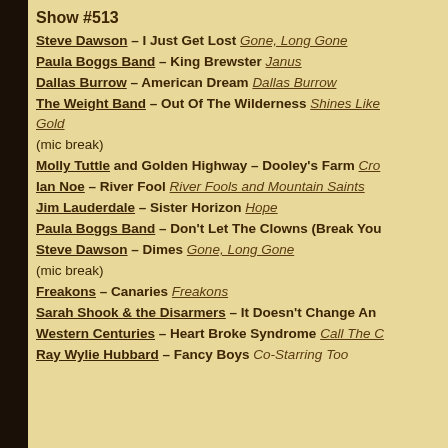Show #513
Steve Dawson – I Just Get Lost Gone, Long Gone
Paula Boggs Band – King Brewster Janus
Dallas Burrow – American Dream Dallas Burrow
The Weight Band – Out Of The Wilderness Shines Like Gold
(mic break)
Molly Tuttle and Golden Highway – Dooley's Farm Cro…
Ian Noe – River Fool River Fools and Mountain Saints
Jim Lauderdale – Sister Horizon Hope
Paula Boggs Band – Don't Let The Clowns (Break You…
Steve Dawson – Dimes Gone, Long Gone
(mic break)
Freakons – Canaries Freakons
Sarah Shook & the Disarmers – It Doesn't Change An…
Western Centuries – Heart Broke Syndrome Call The C…
Ray Wylie Hubbard – Fancy Boys Co-Starring Too…